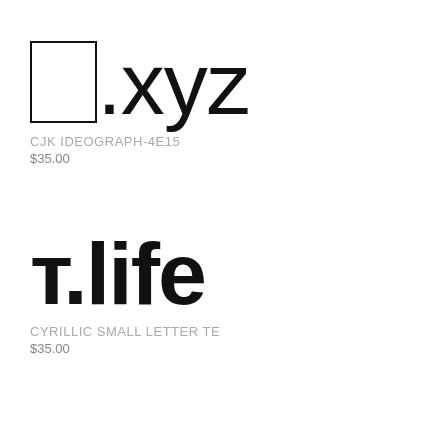丕.xyz
CJK IDEOGRAPH-4E15
$35.00
т.life
CYRILLIC SMALL LETTER TE
$35.00